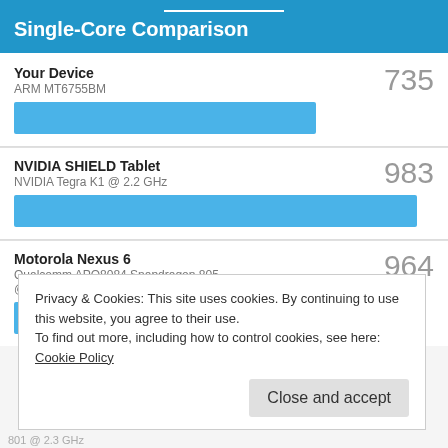Single-Core Comparison
[Figure (bar-chart): Single-Core Comparison]
Privacy & Cookies: This site uses cookies. By continuing to use this website, you agree to their use.
To find out more, including how to control cookies, see here: Cookie Policy
Close and accept
801 @ 2.3 GHz